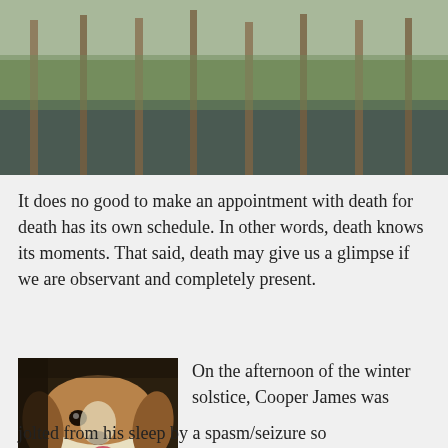[Figure (photo): A wetland or swamp scene with wooden posts/pilings reflected in dark still water, with green marsh grass in the background.]
It does no good to make an appointment with death for death has its own schedule. In other words, death knows its moments. That said, death may give us a glimpse if we are observant and completely present.
[Figure (photo): A close-up photo of a beagle dog named Cooper James, brown and white, with its tongue slightly out.]
On the afternoon of the winter solstice, Cooper James was jolted from his sleep by a spasm/seizure so